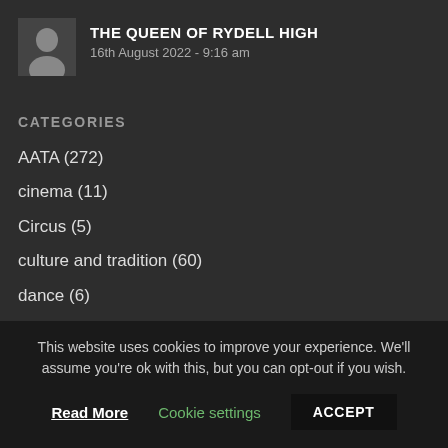[Figure (photo): Thumbnail image of a person, appearing dark/grayscale, for the article 'The Queen of Rydell High']
THE QUEEN OF RYDELL HIGH
16th August 2022 - 9:16 am
CATEGORIES
AATA (272)
cinema (11)
Circus (5)
culture and tradition (60)
dance (6)
education (12)
This website uses cookies to improve your experience. We'll assume you're ok with this, but you can opt-out if you wish.
Read More   Cookie settings   ACCEPT